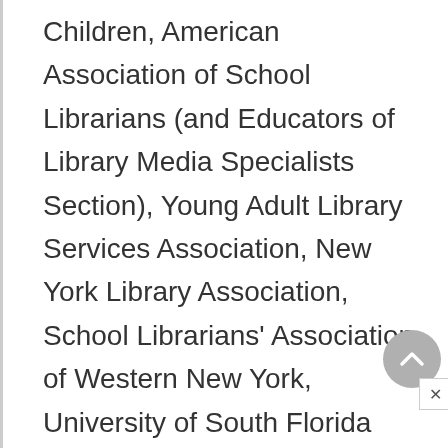Children, American Association of School Librarians (and Educators of Library Media Specialists Section), Young Adult Library Services Association, New York Library Association, School Librarians' Association of Western New York, University of South Florida Alumni Association, Beta Phi Mu, Phi Kappa Phi, Friends of Nepal, Returned Peace Corps Volunteers.